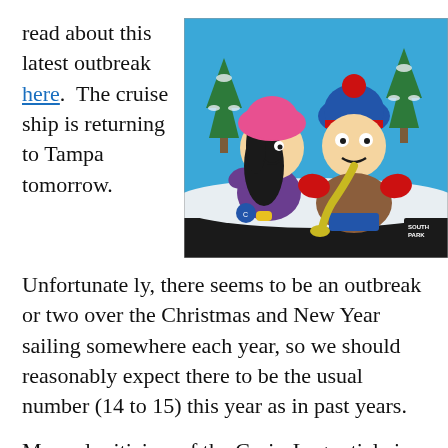read about this latest outbreak here. The cruise ship is returning to Tampa tomorrow.
[Figure (illustration): South Park animated cartoon image showing two characters — a girl with a pink hat and black hair in a purple outfit, and Stan Marsh in a brown jacket and blue hat with red stripe, appearing to vomit yellow liquid. Snowy winter scene with Christmas trees in background. South Park logo in bottom right corner.]
Unfortunately, there seems to be an outbreak or two over the Christmas and New Year sailing somewhere each year, so we should reasonably expect there to be the usual number (14 to 15) this year as in past years.
My real criticism of the CruiseLog article is not whether the number is actually 15 versus 11. It is that the article